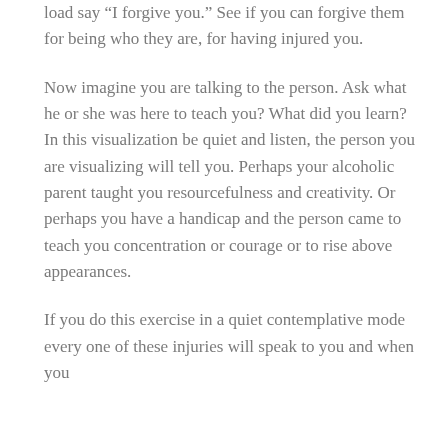load say “I forgive you.” See if you can forgive them for being who they are, for having injured you.
Now imagine you are talking to the person. Ask what he or she was here to teach you? What did you learn? In this visualization be quiet and listen, the person you are visualizing will tell you. Perhaps your alcoholic parent taught you resourcefulness and creativity. Or perhaps you have a handicap and the person came to teach you concentration or courage or to rise above appearances.
If you do this exercise in a quiet contemplative mode every one of these injuries will speak to you and when you